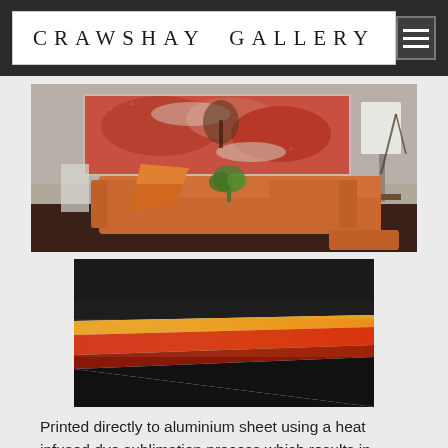CRAWSHAY GALLERY
[Figure (photo): Interior room scene with an orange/terracotta sofa and a large panoramic landscape artwork on the wall behind it, showing red rock formations. A floor lamp is visible on the right.]
[Figure (photo): Close-up of layered aluminium sheets showing heat-infused dye sublimation printing with gradient colors from black to red, orange, and yellow.]
Printed directly to aluminium sheet using a heat infused dye sublimation process which results in